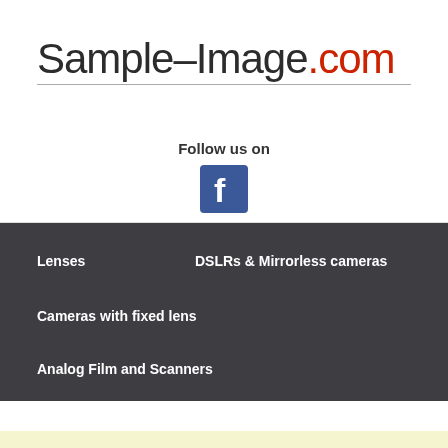Sample-Image.com
Follow us on
[Figure (logo): Facebook logo icon — blue square with white lowercase 'f']
Lenses
DSLRs & Mirrorless cameras
Cameras with fixed lens
Analog Film and Scanners